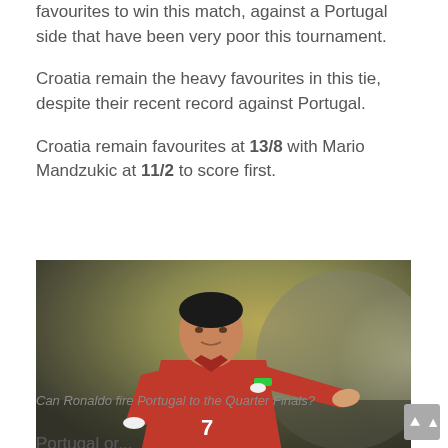favourites to win this match, against a Portugal side that have been very poor this tournament.
Croatia remain the heavy favourites in this tie, despite their recent record against Portugal.
Croatia remain favourites at 13/8 with Mario Mandzukic at 11/2 to score first.
[Figure (photo): A soccer player wearing a red Portugal jersey with number 7, pointing with his right hand, with a crowd in the blurred background. Caption: Can Ronaldo fire Portugal to the Quarter Finals?]
Can Ronaldo fire Portugal to the Quarter Finals?
Portugal or...